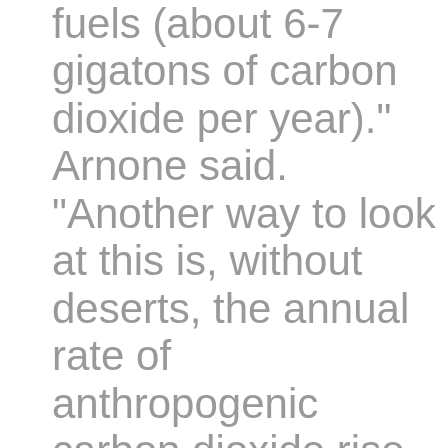burning of fossil fuels (about 6-7 gigatons of carbon dioxide per year)." Arnone said. "Another way to look at this is, without deserts, the annual rate of anthropogenic carbon dioxide rise might be twice as rapid as it is presently and might therefore promote more rapid global warming.
Amazingly, "the authors suggest that a significant portion could be stored in the biologically active soils below...